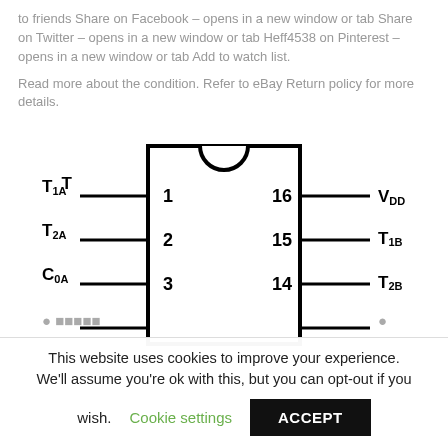to friends Share on Facebook – opens in a new window or tab Share on Twitter – opens in a new window or tab Heff4538 on Pinterest – opens in a new window or tab Add to watch list.
Read more about the condition. Refer to eBay Return policy for more details.
[Figure (circuit-diagram): IC chip pinout diagram showing a 16-pin DIP package with notch at top. Left side pins: T1A - 1, T2A - 2, C0A - 3. Right side pins: 16 - VDD, 15 - T1B, 14 - T2B. Additional pins partially visible at bottom.]
This website uses cookies to improve your experience. We'll assume you're ok with this, but you can opt-out if you wish. Cookie settings ACCEPT